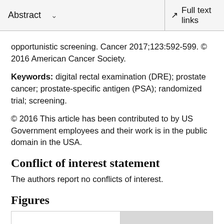Abstract  ∨    Full text links
opportunistic screening. Cancer 2017;123:592-599. © 2016 American Cancer Society.
Keywords: digital rectal examination (DRE); prostate cancer; prostate-specific antigen (PSA); randomized trial; screening.
© 2016 This article has been contributed to by US Government employees and their work is in the public domain in the USA.
Conflict of interest statement
The authors report no conflicts of interest.
Figures
[Figure (other): Partial figure thumbnail box, partially gray background visible at bottom of page]